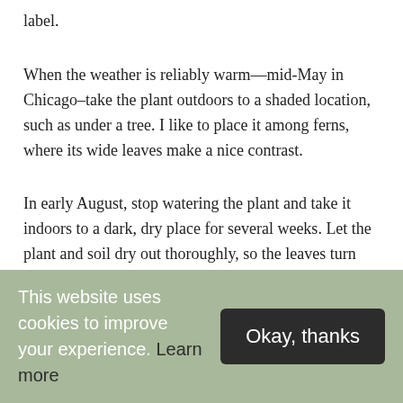label.
When the weather is reliably warm—mid-May in Chicago–take the plant outdoors to a shaded location, such as under a tree. I like to place it among ferns, where its wide leaves make a nice contrast.
In early August, stop watering the plant and take it indoors to a dark, dry place for several weeks. Let the plant and soil dry out thoroughly, so the leaves turn brown and shrivel up.
This website uses cookies to improve your experience. Learn more
Okay, thanks